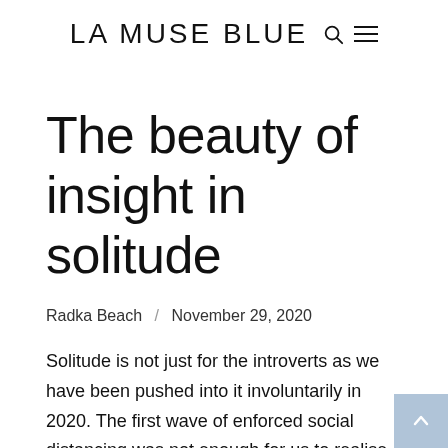LA MUSE BLUE
The beauty of insight in solitude
Radka Beach / November 29, 2020
Solitude is not just for the introverts as we have been pushed into it involuntarily in 2020. The first wave of enforced social distancing was not enough for us to realise how much the direct encounters, touch and communication with real people means to us. As we battle another season of the pandemic